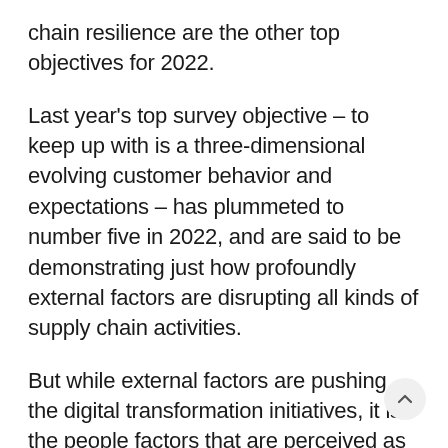chain resilience are the other top objectives for 2022.
Last year's top survey objective – to keep up with is a three-dimensional evolving customer behavior and expectations – has plummeted to number five in 2022, and are said to be demonstrating just how profoundly external factors are disrupting all kinds of supply chain activities.
But while external factors are pushing the digital transformation initiatives, it is the people factors that are perceived as being the most critical success factors, according to the researchers.